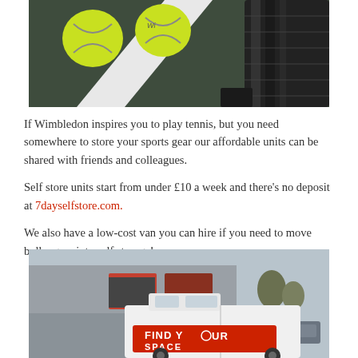[Figure (photo): Tennis balls and a Wilson racket on a dark court surface with a white line]
If Wimbledon inspires you to play tennis, but you need somewhere to store your sports gear our affordable units can be shared with friends and colleagues.
Self store units start from under £10 a week and there's no deposit at 7dayselfstore.com.
We also have a low-cost van you can hire if you need to move bulky gear into self storage!
[Figure (photo): A white van with a red banner reading FIND YOUR SPACE parked outside a storage facility building]